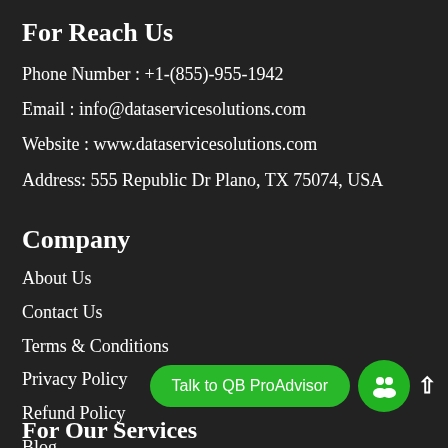For Reach Us
Phone Number : +1-(855)-955-1942
Email : info@dataservicesolutions.com
Website : www.dataservicesolutions.com
Address: 555 Republic Dr Plano, TX 75074, USA
Company
About Us
Contact Us
Terms & Conditions
Privacy Policy
Refund Policy
Blog
[Figure (infographic): Green button with text 'Talk to QB ProAdvisor' and a green circle icon with people symbol, plus an upward arrow]
For Our Services